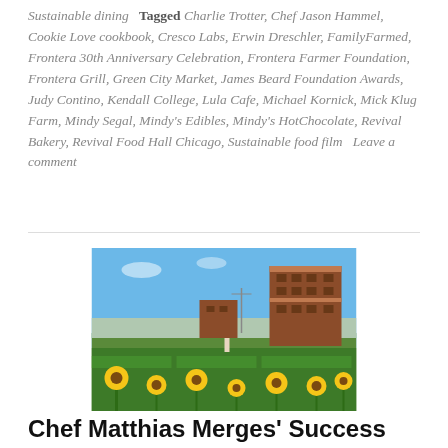Sustainable dining   Tagged Charlie Trotter, Chef Jason Hammel, Cookie Love cookbook, Cresco Labs, Erwin Dreschler, FamilyFarmed, Frontera 30th Anniversary Celebration, Frontera Farmer Foundation, Frontera Grill, Green City Market, James Beard Foundation Awards, Judy Contino, Kendall College, Lula Cafe, Michael Kornick, Mick Klug Farm, Mindy Segal, Mindy's Edibles, Mindy's HotChocolate, Revival Bakery, Revival Food Hall Chicago, Sustainable food film   Leave a comment
[Figure (photo): Outdoor garden with sunflowers in foreground, raised planting beds, and a tall brick industrial building in the background under a clear blue sky.]
Chef Matthias Merges' Success